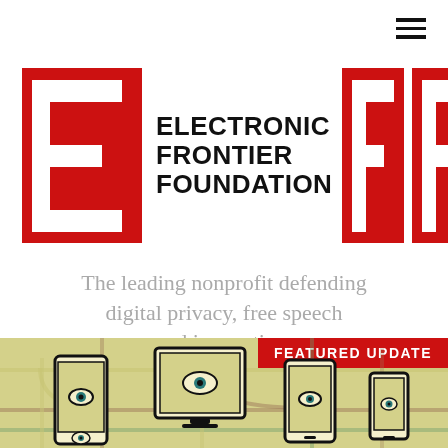[Figure (logo): Electronic Frontier Foundation (EFF) logo — large red E block on the left, black bold text 'ELECTRONIC FRONTIER FOUNDATION' in the center, two red F blocks on the right.]
The leading nonprofit defending digital privacy, free speech and innovation.
DONATE
[Figure (illustration): Featured update banner with olive/tan background showing stylized devices (phone, tablet/monitor, phone, small phone) each with an eye icon. Red 'FEATURED UPDATE' label in top-right corner.]